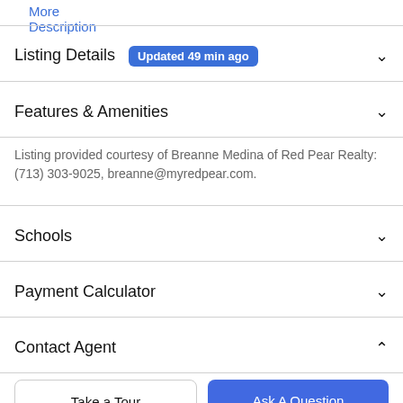More Description
Listing Details   Updated 49 min ago
Features & Amenities
Listing provided courtesy of Breanne Medina of Red Pear Realty: (713) 303-9025, breanne@myredpear.com.
Schools
Payment Calculator
Contact Agent
Take a Tour
Ask A Question